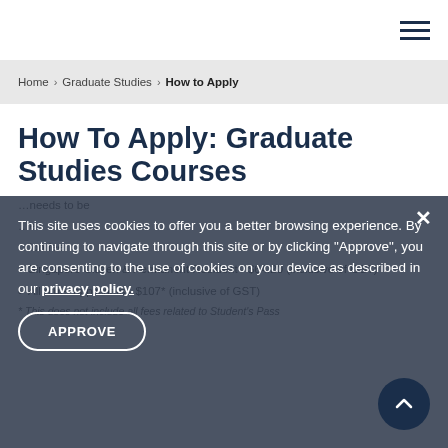Navigation menu (hamburger icon)
Home > Graduate Studies > How to Apply
How To Apply: Graduate Studies Courses
This site uses cookies to offer you a better browsing experience. By continuing to navigate through this site or by clicking "Approve", you are consenting to the use of cookies on your device as described in our privacy policy.
Singapore Citizen & Permanent Resident - $64.20 (inclusive of GST)
All other applicants - $107* (inclusive of GST)
* This does not include all fees related to Student's Pass